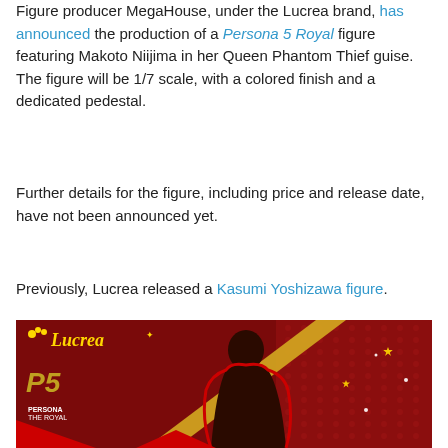Figure producer MegaHouse, under the Lucrea brand, has announced the production of a Persona 5 Royal figure featuring Makoto Niijima in her Queen Phantom Thief guise. The figure will be 1/7 scale, with a colored finish and a dedicated pedestal.
Further details for the figure, including price and release date, have not been announced yet.
Previously, Lucrea released a Kasumi Yoshizawa figure.
[Figure (illustration): Promotional image for Lucrea brand Persona 5 Royal figure. Dark red background with halftone dots pattern, a golden diagonal stripe, and a dark silhouette of a female character (Makoto Niijima as Queen). The Lucrea logo appears in the top left with decorative flowers, and the Persona 5 Royal logo is on the left side. Sparkle/star light effects throughout. Red stylized shape framing at bottom.]